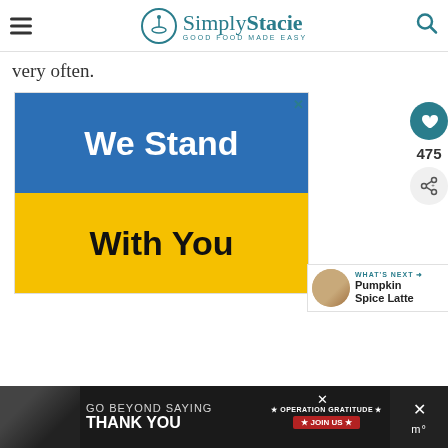Simply Stacie — GOOD FOOD MADE EASY
very often.
[Figure (infographic): Advertisement banner with blue top half reading 'We Stand' in white bold text and yellow bottom half reading 'With You' in black bold text. Close button (X) in top right corner.]
WHAT'S NEXT → Pumpkin Spice Latte
[Figure (infographic): Bottom advertisement bar on dark background with military personnel image, text reading 'GO BEYOND SAYING THANK YOU' and 'OPERATION GRATITUDE JOIN US' logo with American flag star motif]